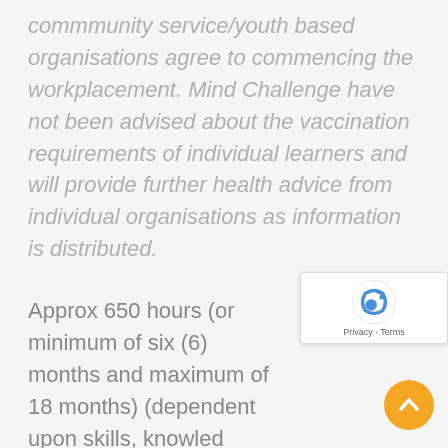commmunity service/youth based organisations agree to commencing the workplacement. Mind Challenge have not been advised about the vaccination requirements of individual learners and will provide further health advice from individual organisations as information is distributed.
Approx 650 hours (or minimum of six (6) months and maximum of 18 months) (dependent upon skills, knowledge, capabilities, previous study or experience in industry and study type).